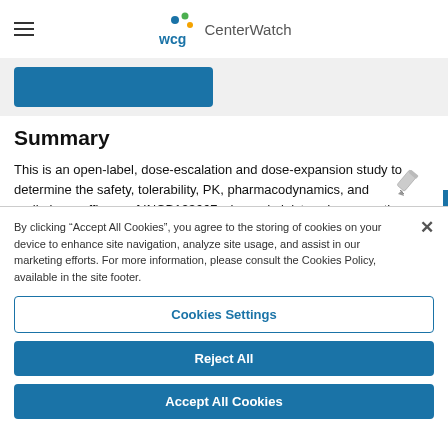WCG CenterWatch
[Figure (screenshot): Blue pill-shaped button in a light gray strip below the navigation bar]
Summary
This is an open-label, dose-escalation and dose-expansion study to determine the safety, tolerability, PK, pharmacodynamics, and preliminary efficacy of INCB123667 when administered as monotherapy at the RDE(s) in participants with selected advanced or metastatic solid tumors. Part 1A (dose escalation) will determine the
By clicking “Accept All Cookies”, you agree to the storing of cookies on your device to enhance site navigation, analyze site usage, and assist in our marketing efforts. For more information, please consult the Cookies Policy, available in the site footer.
Cookies Settings
Reject All
Accept All Cookies